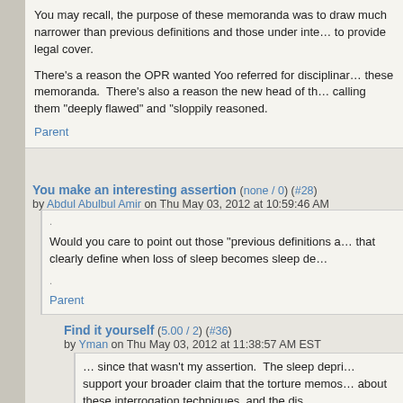You may recall, the purpose of these memoranda was to draw much narrower than previous definitions and those under inte... to provide legal cover.
There's a reason the OPR wanted Yoo referred for disciplinar... these memoranda. There's also a reason the new head of th... calling them "deeply flawed" and "sloppily reasoned.
Parent
You make an interesting assertion (none / 0) (#28)
by Abdul Abulbul Amir on Thu May 03, 2012 at 10:59:46 AM
.
Would you care to point out those "previous definitions a... that clearly define when loss of sleep becomes sleep de...
.
Parent
Find it yourself (5.00 / 2) (#36)
by Yman on Thu May 03, 2012 at 11:38:57 AM EST
... since that wasn't my assertion. The sleep depri... support your broader claim that the torture memos... about these interrogation techniques, and the dis...